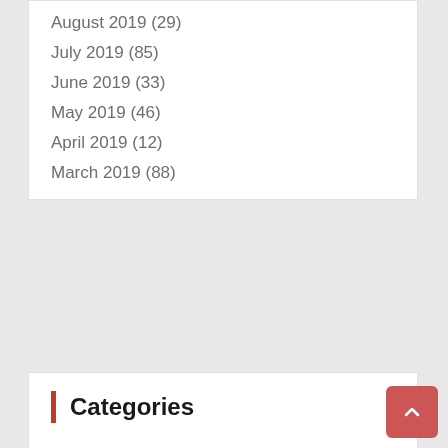August 2019 (29)
July 2019 (85)
June 2019 (33)
May 2019 (46)
April 2019 (12)
March 2019 (88)
Categories
Admission
Honors
HSC
Jobs
JSC
Masters
PSC
Result
Result